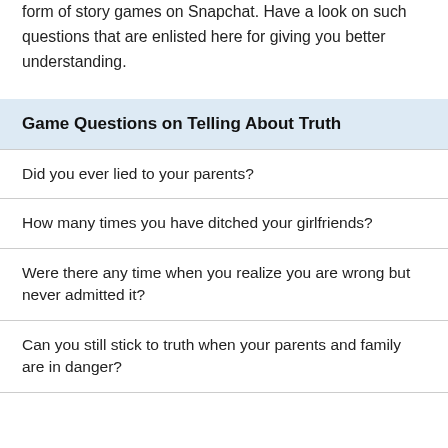form of story games on Snapchat. Have a look on such questions that are enlisted here for giving you better understanding.
Game Questions on Telling About Truth
Did you ever lied to your parents?
How many times you have ditched your girlfriends?
Were there any time when you realize you are wrong but never admitted it?
Can you still stick to truth when your parents and family are in danger?